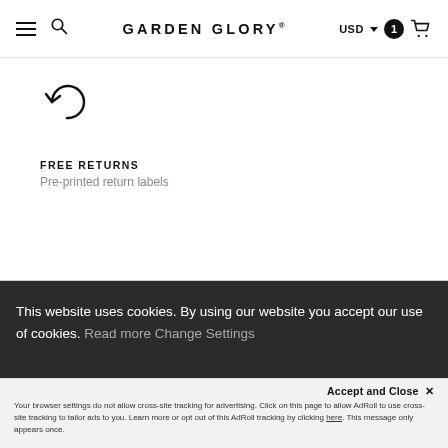≡ 🔍 GARDEN GLORY® USD ▾ 1 🛒
[Figure (illustration): Circular undo/return arrow icon (free returns icon)]
FREE RETURNS
Pre-printed return labels
This website uses cookies. By using our website you accept our use of cookies. Read more Change Settings
Accept and Close ✕
Your browser settings do not allow cross-site tracking for advertising. Click on this page to allow AdRoll to use cross-site tracking to tailor ads to you. Learn more or opt out of this AdRoll tracking by clicking here. This message only appears once.